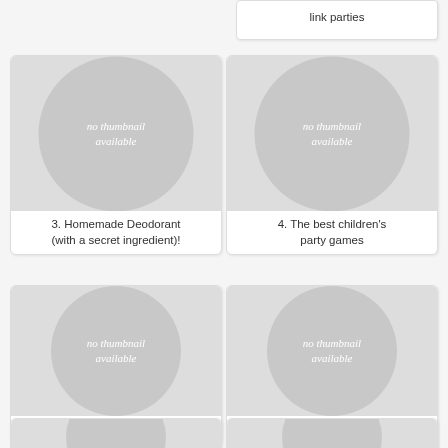link parties
[Figure (illustration): Thumbnail placeholder image with 'no thumbnail available' text, card 3]
3. Homemade Deodorant (with a secret ingredient)!
[Figure (illustration): Thumbnail placeholder image with 'no thumbnail available' text, card 4]
4. The best children's party games
[Figure (illustration): Thumbnail placeholder image with 'no thumbnail available' text, card 5]
5. Apple Cake
[Figure (illustration): Thumbnail placeholder image with 'no thumbnail available' text, card 6]
6. Apple Cider Cupcake/Salted Dulce de Leche Icing
[Figure (illustration): Partial thumbnail placeholder card 7]
[Figure (illustration): Partial thumbnail placeholder card 8]